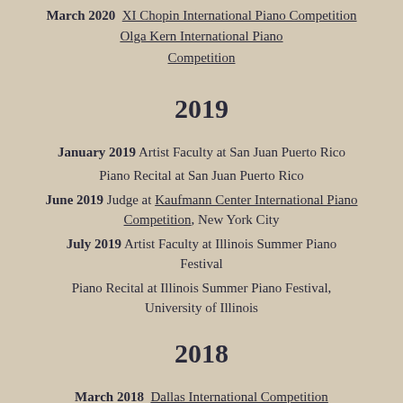March 2020  XI Chopin International Piano Competition
Olga Kern International Piano Competition
2019
January 2019 Artist Faculty at San Juan Puerto Rico
Piano Recital at San Juan Puerto Rico
June 2019 Judge at Kaufmann Center International Piano Competition, New York City
July 2019 Artist Faculty at Illinois Summer Piano Festival
Piano Recital at Illinois Summer Piano Festival, University of Illinois
2018
March 2018  Dallas International Competition